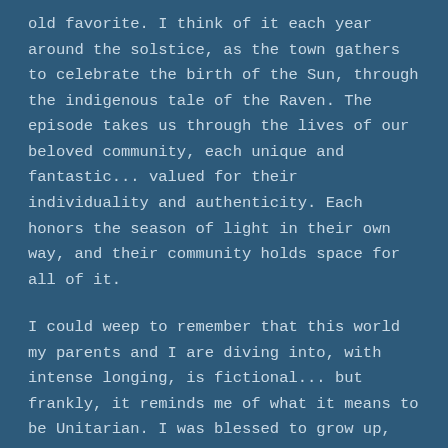old favorite. I think of it each year around the solstice, as the town gathers to celebrate the birth of the Sun, through the indigenous tale of the Raven. The episode takes us through the lives of our beloved community, each unique and fantastic... valued for their individuality and authenticity. Each honors the season of light in their own way, and their community holds space for all of it.
I could weep to remember that this world my parents and I are diving into, with intense longing, is fictional... but frankly, it reminds me of what it means to be Unitarian. I was blessed to grow up, not in a dogmatic religion that excludes the ideas of others, but in a loving community that honors all traditions and...